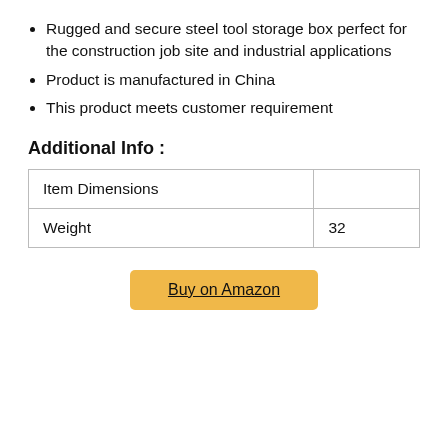Rugged and secure steel tool storage box perfect for the construction job site and industrial applications
Product is manufactured in China
This product meets customer requirement
Additional Info :
| Item Dimensions |  |
| Weight | 32 |
Buy on Amazon